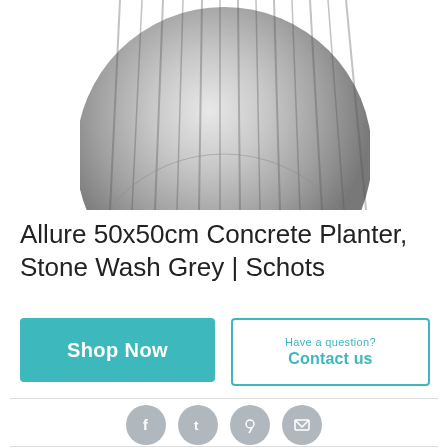[Figure (photo): Spherical ribbed concrete planter in stone wash grey, photographed on a white background, partially cropped at top.]
Allure 50x50cm Concrete Planter, Stone Wash Grey | Schots
Shop Now
Have a question? Contact us
[Figure (other): Social media sharing icons: Facebook, Tumblr, Pinterest, Email]